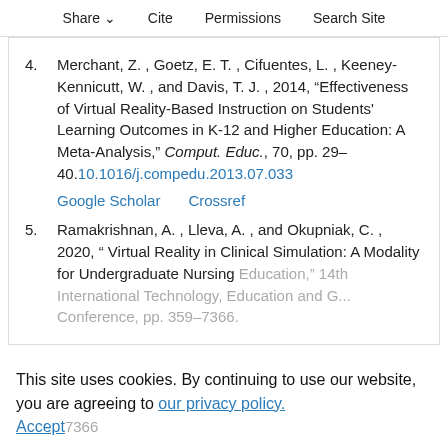Share  Cite  Permissions  Search Site
4. Merchant, Z. , Goetz, E. T. , Cifuentes, L. , Keeney-Kennicutt, W. , and Davis, T. J. , 2014, “Effectiveness of Virtual Reality-Based Instruction on Students' Learning Outcomes in K-12 and Higher Education: A Meta-Analysis,” Comput. Educ., 70, pp. 29–40. 10.1016/j.compedu.2013.07.033 | Google Scholar | Crossref
5. Ramakrishnan, A. , Lleva, A. , and Okupniak, C. , 2020, “ Virtual Reality in Clinical Simulation: A Modality for Undergraduate Nursing Education,” 14th International Technology, Education and G... Conference, pp. 359–7366.
This site uses cookies. By continuing to use our website, you are agreeing to our privacy policy. Accept